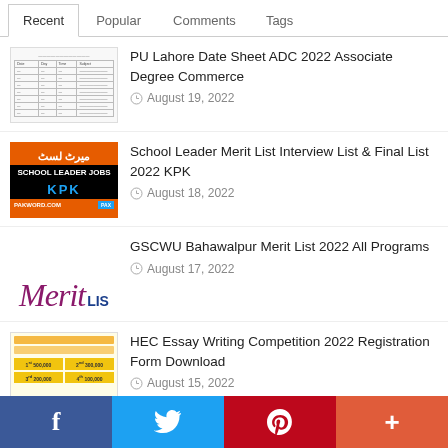Recent | Popular | Comments | Tags
PU Lahore Date Sheet ADC 2022 Associate Degree Commerce - August 19, 2022
School Leader Merit List Interview List & Final List 2022 KPK - August 18, 2022
GSCWU Bahawalpur Merit List 2022 All Programs - August 17, 2022
HEC Essay Writing Competition 2022 Registration Form Download - August 15, 2022
Rs 100 Prize Bond Draw List 15 August
Facebook | Twitter | Pinterest | +